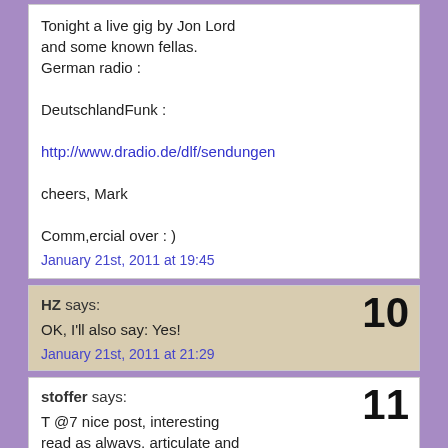Tonight a live gig by Jon Lord and some known fellas.
German radio :

DeutschlandFunk :

http://www.dradio.de/dlf/sendungen

cheers, Mark

Comm,ercial over : )
January 21st, 2011 at 19:45
HZ says:
10
OK, I'll also say: Yes!
January 21st, 2011 at 21:29
stoffer says:
11
T @7 nice post, interesting read as always, articulate and educating 🙂 but if you are trying to be a politician very well done... a lot of things said but